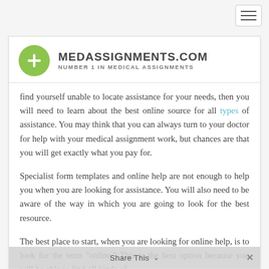MEDASSIGNMENTS.COM — NUMBER 1 IN MEDICAL ASSIGNMENTS
find yourself unable to locate assistance for your needs, then you will need to learn about the best online source for all types of assistance. You may think that you can always turn to your doctor for help with your medical assignment work, but chances are that you will get exactly what you pay for.
Specialist form templates and online help are not enough to help you when you are looking for assistance. You will also need to be aware of the way in which you are going to look for the best resource.
The best place to start, when you are looking for online help, is to look for the term "online." This is the best option because you will be able to find all kinds of
Share This